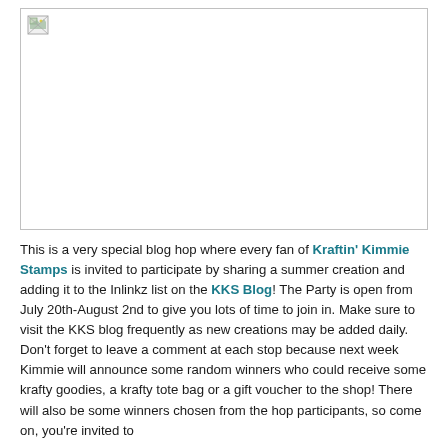[Figure (photo): Broken/missing image placeholder showing a small broken image icon in the top-left corner of a white rectangle with a light gray border]
This is a very special blog hop where every fan of Kraftin' Kimmie Stamps is invited to participate by sharing a summer creation and adding it to the Inlinkz list on the KKS Blog! The Party is open from July 20th-August 2nd to give you lots of time to join in. Make sure to visit the KKS blog frequently as new creations may be added daily. Don't forget to leave a comment at each stop because next week Kimmie will announce some random winners who could receive some krafty goodies, a krafty tote bag or a gift voucher to the shop! There will also be some winners chosen from the hop participants, so come on, you're invited to